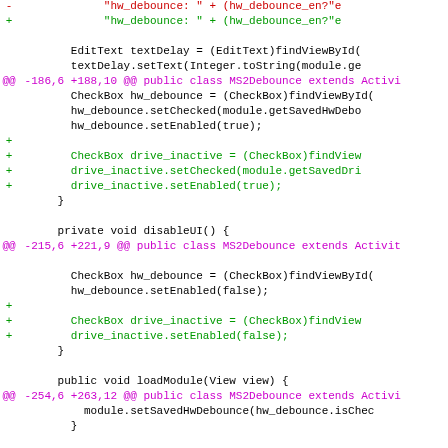Code diff showing changes to MS2Debounce Activity class
[Figure (screenshot): Git diff output showing Java code changes with red removed lines, green added lines, and magenta hunk headers for MS2Debounce Android Activity class]